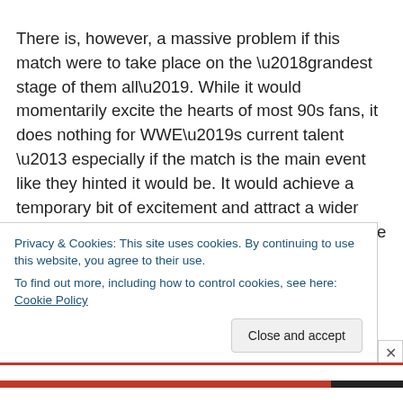There is, however, a massive problem if this match were to take place on the ‘grandest stage of them all’. While it would momentarily excite the hearts of most 90s fans, it does nothing for WWE’s current talent – especially if the match is the main event like they hinted it would be. It would achieve a temporary bit of excitement and attract a wider audience, yes, but will do nothing in sustaining the future of the WWE roster. It doesn’t make sense, nor is it
Privacy & Cookies: This site uses cookies. By continuing to use this website, you agree to their use.
To find out more, including how to control cookies, see here: Cookie Policy
Close and accept